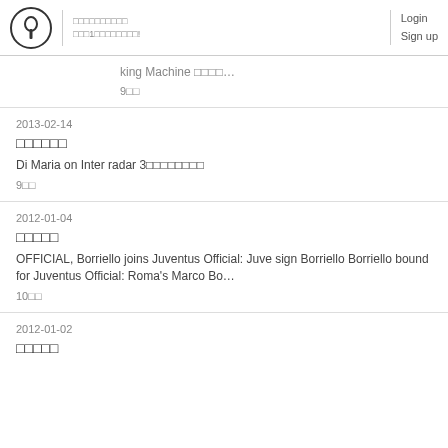Login Sign up
king Machine □□□□…
9□□
2013-02-14
□□□□□□
Di Maria on Inter radar 3□□□□□□□□
9□□
2012-01-04
□□□□□
OFFICIAL, Borriello joins Juventus Official: Juve sign Borriello Borriello bound for Juventus Official: Roma's Marco Bo…
10□□
2012-01-02
□□□□□